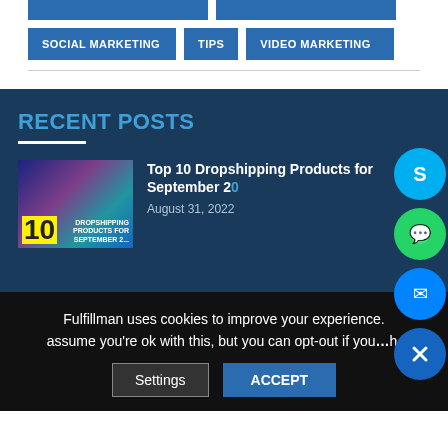SOCIAL MARKETING
TIPS
VIDEO MARKETING
RECENT POSTS
[Figure (photo): Thumbnail image for blog post about Top 10 Dropshipping Products for September 2022, with yellow '10' graphic and purple/teal background]
Top 10 Dropshipping Products for September 2022
August 31, 2022
Fulfillman uses cookies to improve your experience. assume you're ok with this, but you can opt-out if you wish.
Settings
ACCEPT